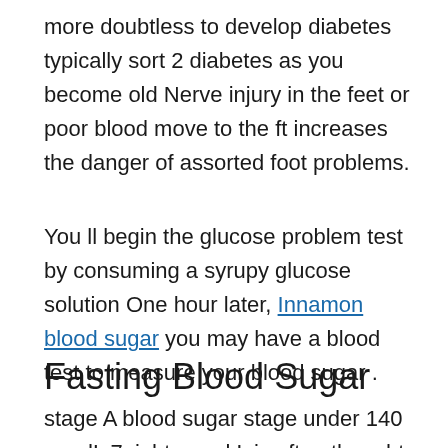more doubtless to develop diabetes typically sort 2 diabetes as you become old Nerve injury in the feet or poor blood move to the ft increases the danger of assorted foot problems.
You ll begin the glucose problem test by consuming a syrupy glucose solution One hour later, Innamon blood sugar you may have a blood test to measure your blood sugar .
Fasting Blood Sugar
stage A blood sugar stage under 140 mg dL 7eight mmol L is often thought of regular on a glucose problem check, though this will likely range at specific clinics or labs Regardless of whenever you